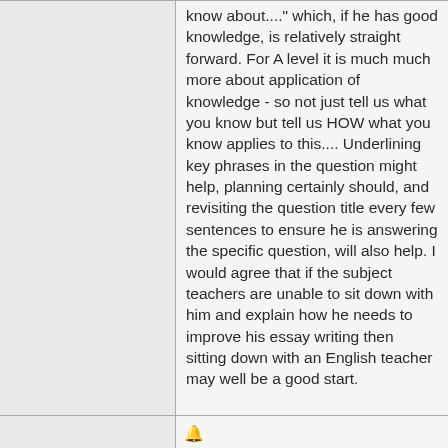know about..." which, if he has good knowledge, is relatively straight forward. For A level it is much much more about application of knowledge - so not just tell us what you know but tell us HOW what you know applies to this.... Underlining key phrases in the question might help, planning certainly should, and revisiting the question title every few sentences to ensure he is answering the specific question, will also help. I would agree that if the subject teachers are unable to sit down with him and explain how he needs to improve his essay writing then sitting down with an English teacher may well be a good start.